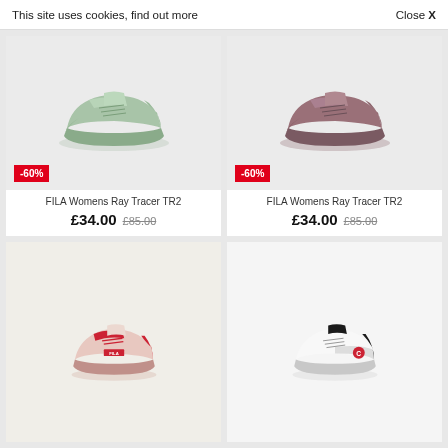This site uses cookies, find out more    Close X
[Figure (photo): Mint green FILA Womens Ray Tracer TR2 chunky sneakers on white background with -60% red badge]
FILA Womens Ray Tracer TR2
£34.00  £85.00
[Figure (photo): Mauve/dark pink FILA Womens Ray Tracer TR2 chunky sneakers on white background with -60% red badge]
FILA Womens Ray Tracer TR2
£34.00  £85.00
[Figure (photo): Pink and red FILA chunky sneakers on light background, partially visible]
[Figure (photo): White Champion sneakers on white background, partially visible]